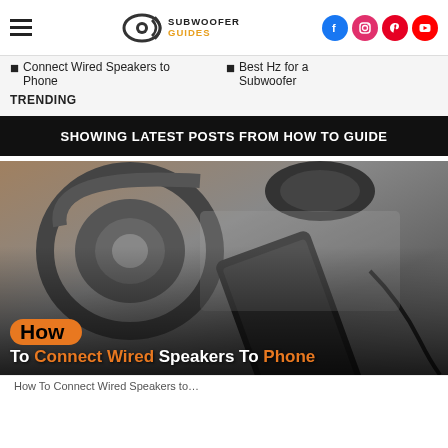Subwoofer Guides - navigation header with logo, hamburger menu, and social icons (Facebook, Instagram, Pinterest, YouTube)
Connect Wired Speakers to Phone
Best Hz for a Subwoofer
TRENDING
SHOWING LATEST POSTS FROM HOW TO GUIDE
[Figure (photo): Black and white photo of over-ear headphones and a smartphone with audio app open, lying on fabric and wood surface, with text overlay: 'How To Connect Wired Speakers To Phone']
How To Connect Wired Speakers To Phone